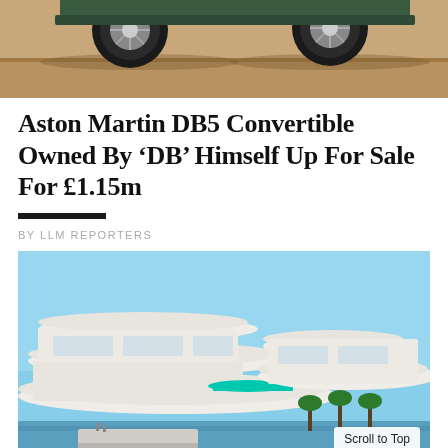[Figure (photo): Close-up photo of the underside of a classic car, showing wheels/tyres on a sandy/paved surface]
Aston Martin DB5 Convertible Owned By ‘DB’ Himself Up For Sale For £1.15m
BY LLM REPORTERS
[Figure (photo): Architectural rendering of a futuristic wave-shaped white building complex by the water, with blue sky and palm trees, featuring flowing curved balconies and a teal accent pool feature. Scroll to Top button visible in lower right corner.]